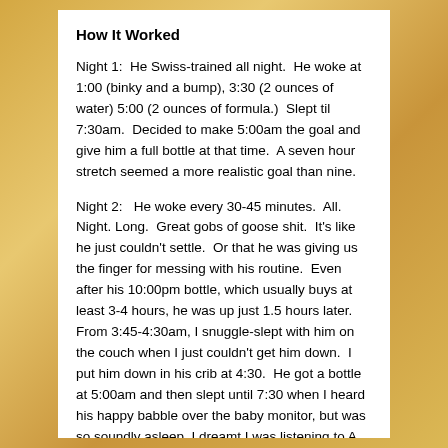How It Worked
Night 1:  He Swiss-trained all night.  He woke at 1:00 (binky and a bump), 3:30 (2 ounces of water) 5:00 (2 ounces of formula.)  Slept til 7:30am.  Decided to make 5:00am the goal and give him a full bottle at that time.  A seven hour stretch seemed a more realistic goal than nine.
Night 2:   He woke every 30-45 minutes.  All.  Night. Long.  Great gobs of goose shit.  It's like he just couldn't settle.  Or that he was giving us the finger for messing with his routine.  Even after his 10:00pm bottle, which usually buys at least 3-4 hours, he was up just 1.5 hours later.  From 3:45-4:30am, I snuggle-slept with him on the couch when I just couldn't get him down.  I put him down in his crib at 4:30.  He got a bottle at 5:00am and then slept until 7:30 when I heard his happy babble over the baby monitor, but was so soundly asleep, I dreamt I was listening to A Prairie Home Companion and that Garrison Keillor was having a stroke.